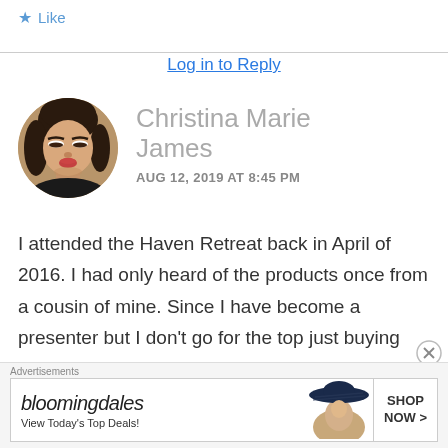★ Like
Log in to Reply
Christina Marie James
AUG 12, 2019 AT 8:45 PM
[Figure (photo): Circular profile photo of Christina Marie James, a young woman with dark hair making a kissing face]
I attended the Haven Retreat back in April of 2016. I had only heard of the products once from a cousin of mine. Since I have become a presenter but I don't go for the top just buying the
Advertisements
[Figure (other): Bloomingdale's advertisement banner with logo, 'View Today's Top Deals!' tagline, woman in hat image, and 'SHOP NOW >' button]